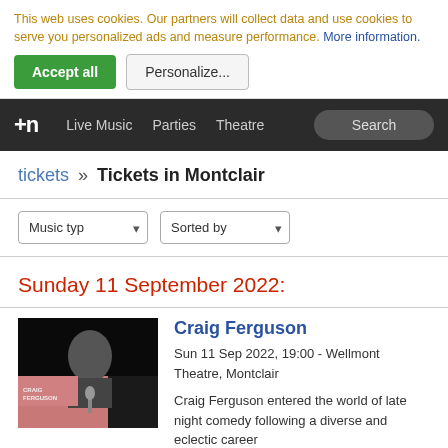This web uses cookies. Our partners will collect data and use cookies to serve you personalized ads and measure performance. More information.
Accept all   Personalize...
+n  Live Music  Parties  Theatre  Search
tickets » Tickets in Montclair
Music type ▾   Sorted by ▾
Sunday 11 September 2022:
[Figure (photo): Photo of Craig Ferguson at what appears to be a comic convention event, with a dark background and pink/red lower portion]
Craig Ferguson
Sun 11 Sep 2022, 19:00 - Wellmont Theatre, Montclair
Craig Ferguson entered the world of late night comedy following a diverse and eclectic career